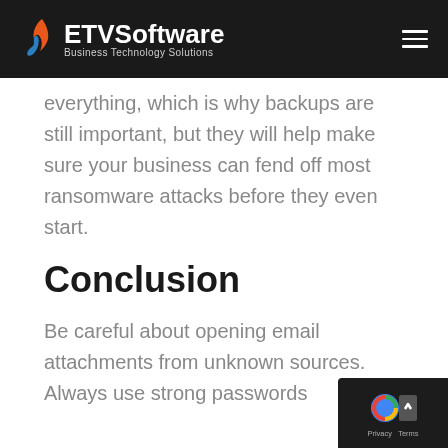ETV Software - Business Technology Solutions
everything, which is why backups are still important, but they will help make sure your business can fend off most ransomware attacks before they even start.
Conclusion
Be careful about opening email attachments from unknown sources. Always use strong passwords